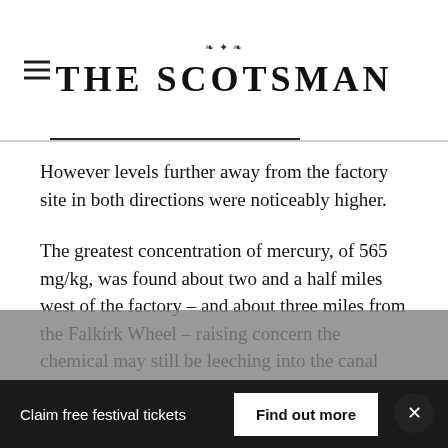THE SCOTSMAN
However levels further away from the factory site in both directions were noticeably higher.
The greatest concentration of mercury, of 565 mg/kg, was found about two and a half miles west of the factory – and about three miles from the Falkirk Wheel – raising concern the chemical may still be leeching into the canal from “huge” areas of the surrounding land.
Claim free festival tickets  Find out more